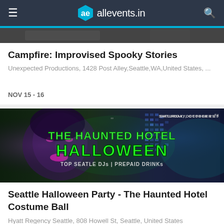allevents.in
[Figure (photo): Dark themed event banner image (top portion of Campfire Improvised Spooky Stories event)]
Campfire: Improvised Spooky Stories
Unexpected Productions, 1428 Post Alley,Seattle,WA,United States, ...
NOV 15 - 16
[Figure (photo): The Haunted Hotel Halloween party promotional banner — woman in Halloween makeup, green glowing text reading THE HAUNTED HOTEL HALLOWEEN, TOP SEATLE DJs | PREPAID DRINKs, SATURDAY, OCTOBER 29th, city building in background]
Seattle Halloween Party - The Haunted Hotel Costume Ball
Hyatt Regency Seattle, 808 Howell St, Seattle, United States